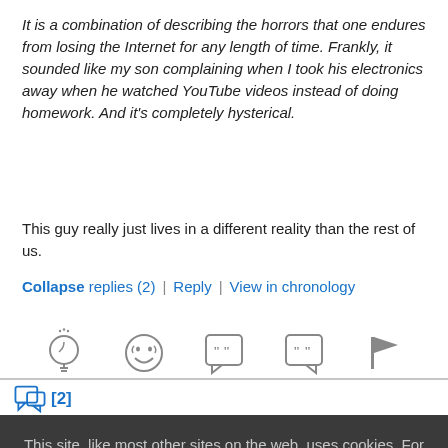It is a combination of describing the horrors that one endures from losing the Internet for any length of time. Frankly, it sounded like my son complaining when I took his electronics away when he watched YouTube videos instead of doing homework. And it's completely hysterical.
This guy really just lives in a different reality than the rest of us.
Collapse replies (2) | Reply | View in chronology
[Figure (infographic): Row of five action icons: lightbulb (insightful), laughing emoji (funny), open quote speech bubble (quote), close quote speech bubble (reply quote), flag (report)]
[2] replies
This site, like most other sites on the web, uses cookies. For more information, see our privacy policy
GOT IT